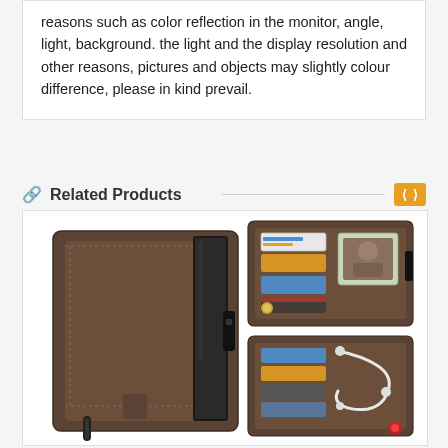reasons such as color reflection in the monitor, angle, light, background. the light and the display resolution and other reasons, pictures and objects may slightly colour difference, please in kind prevail.
Related Products
[Figure (photo): Product photo showing a brown leather wallet phone case from multiple angles: closed view showing the case with a snap button and zipper, open view showing card slots and photo ID window, and another open view with card slots and headphone cable storage.]